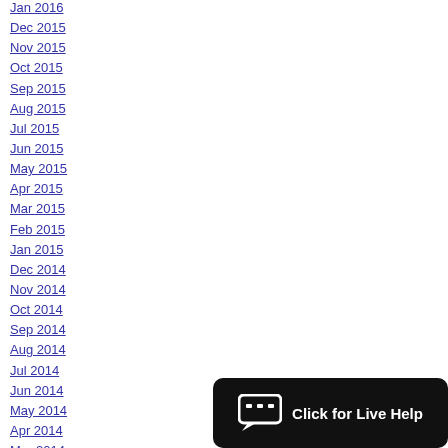Jan 2016
Dec 2015
Nov 2015
Oct 2015
Sep 2015
Aug 2015
Jul 2015
Jun 2015
May 2015
Apr 2015
Mar 2015
Feb 2015
Jan 2015
Dec 2014
Nov 2014
Oct 2014
Sep 2014
Aug 2014
Jul 2014
Jun 2014
May 2014
Apr 2014
Mar 2014
Feb 2014
Jan 2014
Dec 2013
Nov 2013
Oct 2013
Sep 2013
[Figure (other): Live chat widget with speech bubble icon and text 'Click for Live Help' on dark background]